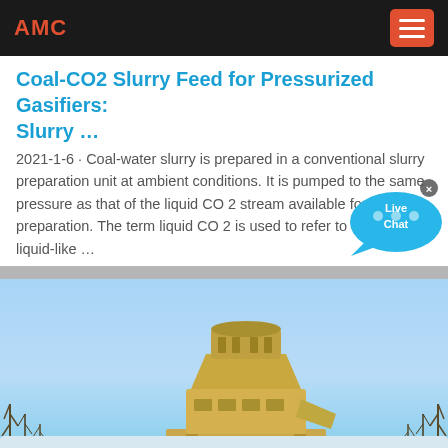AMC
Coal-CO2 Slurry Feed for Pressurized Gasifiers: Slurry …
2021-1-6 · Coal-water slurry is prepared in a conventional slurry preparation unit at ambient conditions. It is pumped to the same pressure as that of the liquid CO 2 stream available for slurry preparation. The term liquid CO 2 is used to refer to CO 2 a liquid-like …
[Figure (photo): Industrial mining or crushing equipment, likely a cone crusher or similar machinery, photographed outdoors against a blue sky with bare trees in the background.]